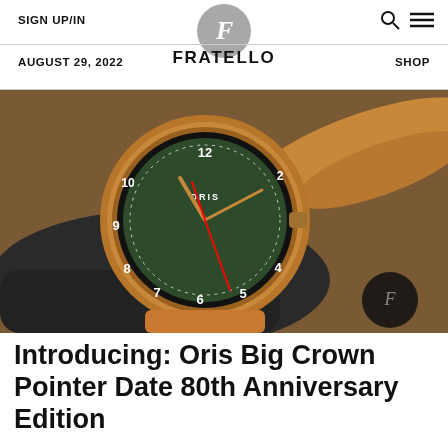SIGN UP/IN   FRATELLO   SHOP
AUGUST 29, 2022
[Figure (photo): Close-up photo of an Oris Big Crown Pointer Date 80th Anniversary Edition watch with a bronze case and green dial, resting on a dark leather glove with an orange leather strap visible in the background. The watch shows Arabic numerals and a pointer date hand. A Fratello watermark medallion appears in the lower right.]
Introducing: Oris Big Crown Pointer Date 80th Anniversary Edition